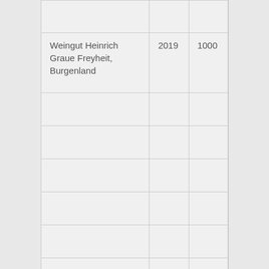|  |  |  |
| Weingut Heinrich Graue Freyheit, Burgenland | 2019 | 1000 |
|  |  |  |
|  |  |  |
|  |  |  |
|  |  |  |
|  |  |  |
|  |  |  |
| ORANSJE |  |  |